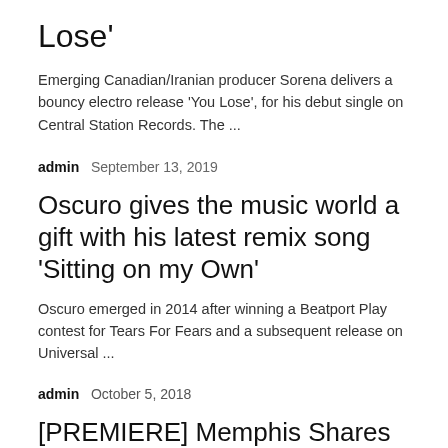Lose'
Emerging Canadian/Iranian producer Sorena delivers a bouncy electro release 'You Lose', for his debut single on Central Station Records. The ...
admin   September 13, 2019
Oscuro gives the music world a gift with his latest remix song 'Sitting on my Own'
Oscuro emerged in 2014 after winning a Beatport Play contest for Tears For Fears and a subsequent release on Universal ...
admin   October 5, 2018
[PREMIERE] Memphis Shares A Brand New Orchestral Wave Track; 'POSEIDON'
Toronto-based wave musician Memphis. has always immersed himself in music. Using this passion, Memphis. has honed his craft